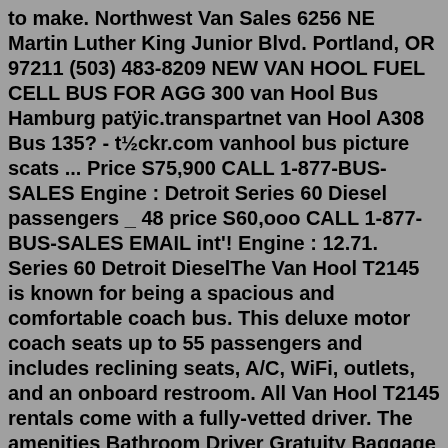to make. Northwest Van Sales 6256 NE Martin Luther King Junior Blvd. Portland, OR 97211 (503) 483-8209 NEW VAN HOOL FUEL CELL BUS FOR AGG 300 van Hool Bus Hamburg patÿic.transpartnet van Hool A308 Bus 135? - t½ckr.com vanhool bus picture scats ... Price S75,900 CALL 1-877-BUS-SALES Engine : Detroit Series 60 Diesel passengers _ 48 price S60,ooo CALL 1-877-BUS-SALES EMAIL int'! Engine : 12.71. Series 60 Detroit DieselThe Van Hool T2145 is known for being a spacious and comfortable coach bus. This deluxe motor coach seats up to 55 passengers and includes reclining seats, A/C, WiFi, outlets, and an onboard restroom. All Van Hool T2145 rentals come with a fully-vetted driver. The amenities Bathroom Driver Gratuity Baggage Outlets Wi-fi See other optionsBook nowVan Hool : C2045 (Year: 2001) Base Price: $52,000.00. For Sale By Owner. 2001 Van Hool C2045 Unit Number: 45634 Seating Capacity: 55 Engine: DDC S60 425 Transmission: Allison B-500 Please call to verify specifics and for all other questions. view details.Dany